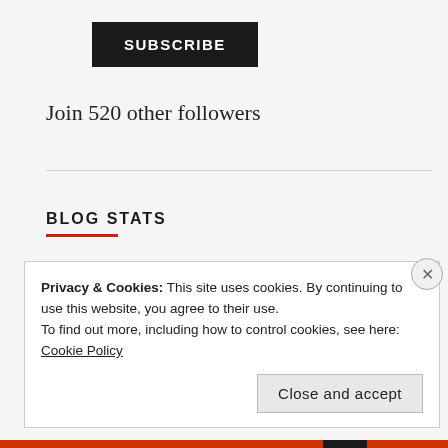SUBSCRIBE
Join 520 other followers
BLOG STATS
31,182 hits
Privacy & Cookies: This site uses cookies. By continuing to use this website, you agree to their use.
To find out more, including how to control cookies, see here: Cookie Policy
Close and accept